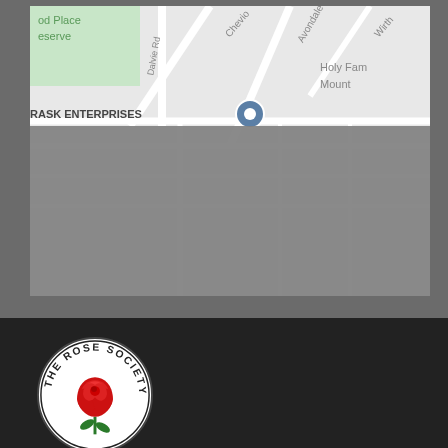[Figure (map): Google Maps screenshot showing a location marker (pin) near RASK ENTERPRISES. Visible street names include Avondale, Wirth, Cheviot, Dalvie Rd. Green area labeled 'od Place eserve'. Top right shows 'Holy Fam Mount'.]
[Figure (logo): The Rose Society circular logo with a red rose illustration in the center and text 'THE ROSE SOCIETY' around the border.]